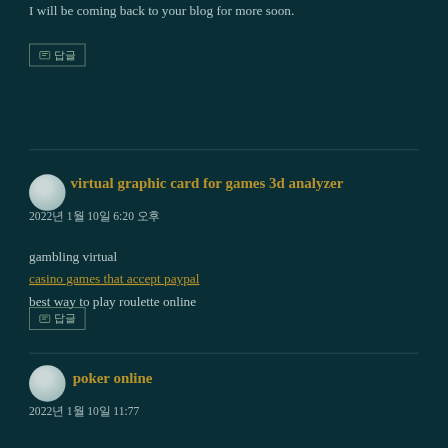I will be coming back to your blog for more soon.
[Figure (other): Reply button with icon (top section)]
virtual graphic card for games 3d analyzer
2022년 1월 10일 6:20 오후
gambling virtual
casino games that accept paypal
best way to play roulette online
[Figure (other): Reply button with icon (bottom section)]
poker online